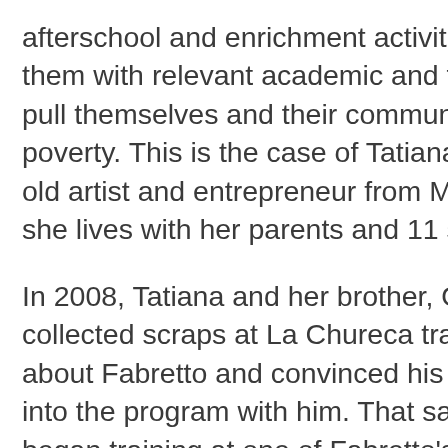afterschool and enrichment activities, with them with relevant academic and techn pull themselves and their communities poverty. This is the case of Tatiana Roja old artist and entrepreneur from Manag she lives with her parents and 11 sibling
In 2008, Tatiana and her brother, Osma collected scraps at La Chureca trash du about Fabretto and convinced his siste into the program with him. That same y began training at one of Fabretto's Edu Centers in Acahualinca, better known a